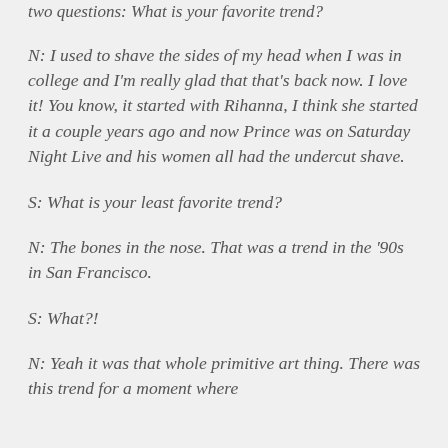two questions: What is your favorite trend?
N: I used to shave the sides of my head when I was in college and I'm really glad that that's back now. I love it! You know, it started with Rihanna, I think she started it a couple years ago and now Prince was on Saturday Night Live and his women all had the undercut shave.
S: What is your least favorite trend?
N: The bones in the nose. That was a trend in the '90s in San Francisco.
S: What?!
N: Yeah it was that whole primitive art thing. There was this trend for a moment where